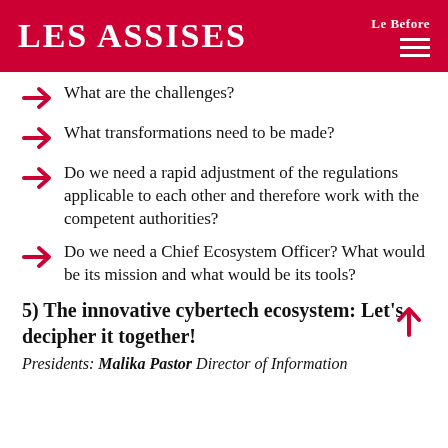LES ASSISES — Le Before
What are the challenges?
What transformations need to be made?
Do we need a rapid adjustment of the regulations applicable to each other and therefore work with the competent authorities?
Do we need a Chief Ecosystem Officer? What would be its mission and what would be its tools?
5) The innovative cybertech ecosystem: Let's decipher it together!
Presidents: Malika Pastor Director of Information